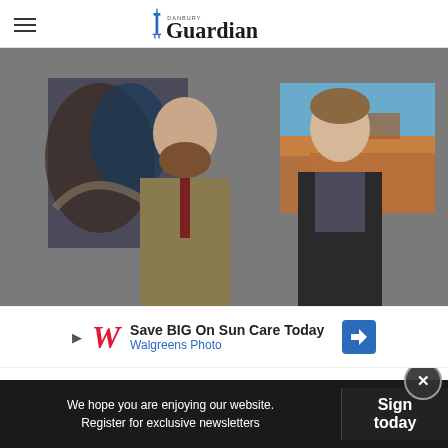Danbury Guardian
[Figure (photo): Two men standing in an art gallery. On the left, a bearded man in a tan blazer and tie. On the right, a younger man in a dark jacket. Art pieces hang on the walls behind them including an abstract painting and a landscape photograph.]
[Figure (photo): Walgreens advertisement banner: Save BIG On Sun Care Today — Walgreens Photo]
We hope you are enjoying our website. Register for exclusive newsletters
Sign today